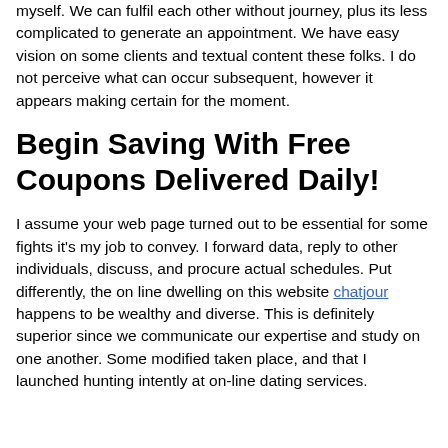myself. We can fulfil each other without journey, plus its less complicated to generate an appointment. We have easy vision on some clients and textual content these folks. I do not perceive what can occur subsequent, however it appears making certain for the moment.
Begin Saving With Free Coupons Delivered Daily!
I assume your web page turned out to be essential for some fights it's my job to convey. I forward data, reply to other individuals, discuss, and procure actual schedules. Put differently, the on line dwelling on this website chatjour happens to be wealthy and diverse. This is definitely superior since we communicate our expertise and study on one another. Some modified taken place, and that I launched hunting intently at on-line dating services.